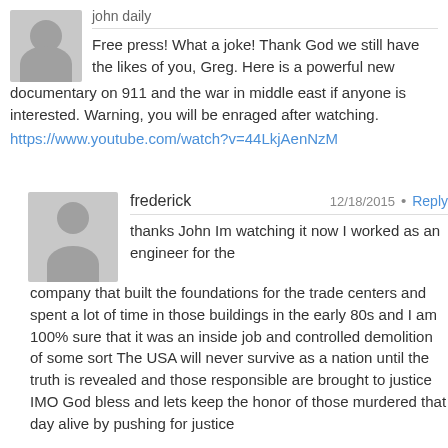john daily
Free press! What a joke! Thank God we still have the likes of you, Greg. Here is a powerful new documentary on 911 and the war in middle east if anyone is interested. Warning, you will be enraged after watching. https://www.youtube.com/watch?v=44LkjAenNzM
frederick  12/18/2015 • Reply
thanks John Im watching it now I worked as an engineer for the company that built the foundations for the trade centers and spent a lot of time in those buildings in the early 80s and I am 100% sure that it was an inside job and controlled demolition of some sort The USA will never survive as a nation until the truth is revealed and those responsible are brought to justice IMO God bless and lets keep the honor of those murdered that day alive by pushing for justice